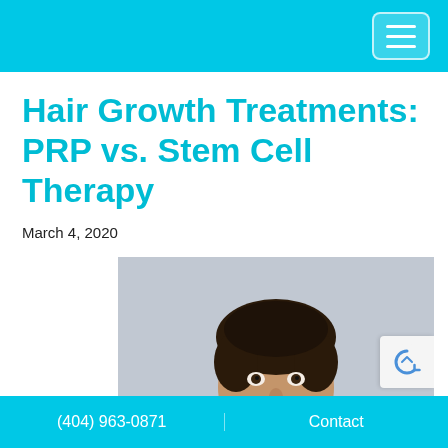Navigation bar with hamburger menu
Hair Growth Treatments: PRP vs. Stem Cell Therapy
March 4, 2020
[Figure (photo): Smiling man with dark hair wearing a white polo shirt, photographed against a light grey background]
(404) 963-0871   Contact